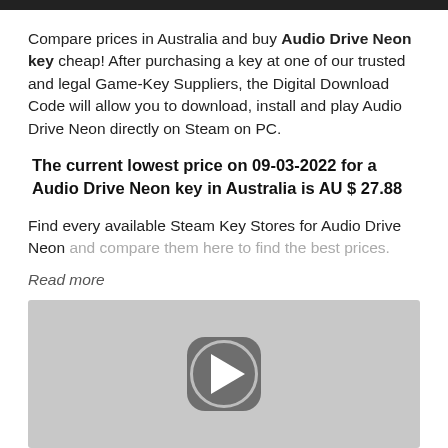Compare prices in Australia and buy Audio Drive Neon key cheap! After purchasing a key at one of our trusted and legal Game-Key Suppliers, the Digital Download Code will allow you to download, install and play Audio Drive Neon directly on Steam on PC.
The current lowest price on 09-03-2022 for a Audio Drive Neon key in Australia is AU $ 27.88
Find every available Steam Key Stores for Audio Drive Neon and compare them here to find the best prices.
Read more
[Figure (other): Video thumbnail with a rounded-rectangle play button (dark gray with white triangle) centered on a light gray background.]